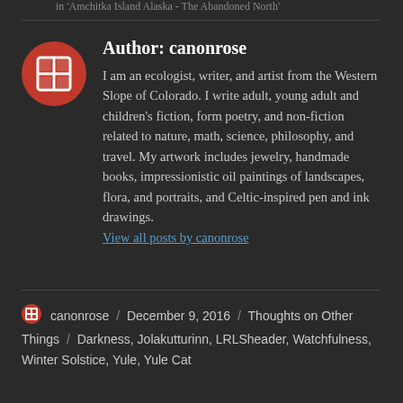in 'Amchitka Island Alaska - The Abandoned North'
[Figure (logo): Red circular avatar icon with white grid/hashtag symbol, representing the author canonrose]
Author: canonrose
I am an ecologist, writer, and artist from the Western Slope of Colorado. I write adult, young adult and children's fiction, form poetry, and non-fiction related to nature, math, science, philosophy, and travel. My artwork includes jewelry, handmade books, impressionistic oil paintings of landscapes, flora, and portraits, and Celtic-inspired pen and ink drawings. View all posts by canonrose
canonrose / December 9, 2016 / Thoughts on Other Things / Darkness, Jolakutturinn, LRLSheader, Watchfulness, Winter Solstice, Yule, Yule Cat